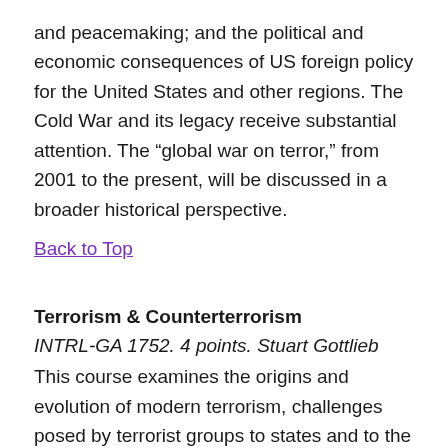and peacemaking; and the political and economic consequences of US foreign policy for the United States and other regions. The Cold War and its legacy receive substantial attention. The “global war on terror,” from 2001 to the present, will be discussed in a broader historical perspective.
Back to Top
Terrorism & Counterterrorism
INTRL-GA 1752. 4 points. Stuart Gottlieb
This course examines the origins and evolution of modern terrorism, challenges posed by terrorist groups to states and to the international system, and strategies employed to confront and combat